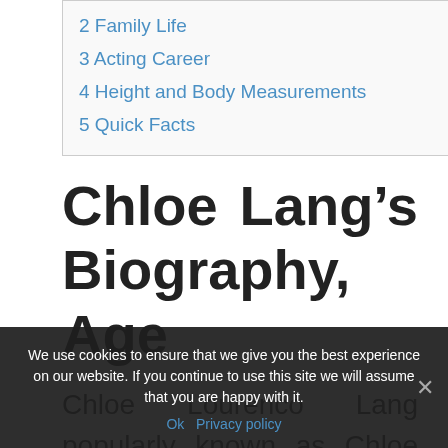2 Family Life
3 Acting Career
4 Height and Body Measurements
5 Quick Facts
Chloe Lang’s Biography, Age
Chloe Lourenco Lang popularly known as Chloe was born on the 14th day of November
We use cookies to ensure that we give you the best experience on our website. If you continue to use this site we will assume that you are happy with it.
Ok   Privacy policy